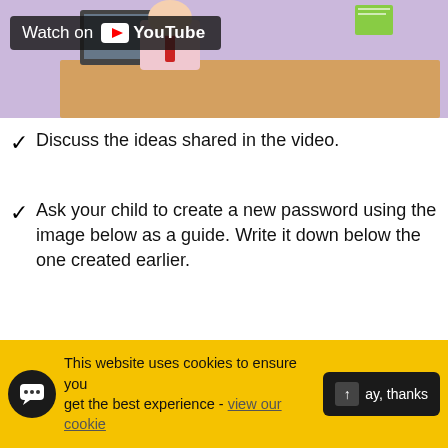[Figure (screenshot): YouTube video thumbnail showing a cartoon office scene with a 'Watch on YouTube' overlay button]
Discuss the ideas shared in the video.
Ask your child to create a new password using the image below as a guide. Write it down below the one created earlier.
[Figure (infographic): Infographic box titled 'Can you create a secure password?' with Top tips: Think of a memorable phrase: I love my cuddly cat; Use the first letter of each word: iLmCc]
This website uses cookies to ensure you get the best experience - view our cookie
Okay, thanks